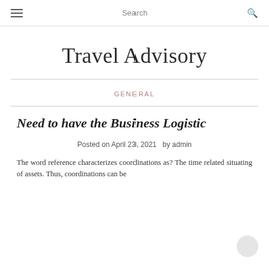≡  Search  🔍
Travel Advisory
GENERAL
Need to have the Business Logistic
Posted on April 23, 2021  by admin
The word reference characterizes coordinations as? The time related situating of assets. Thus, coordinations can be